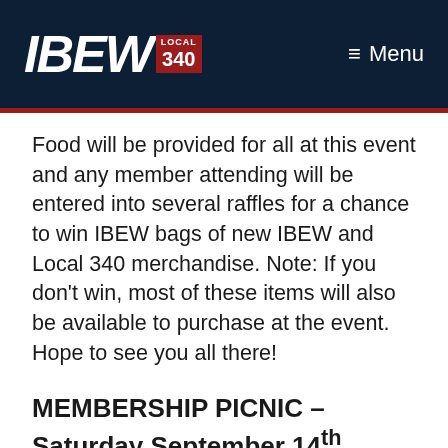IBEW LOCAL 340 — Menu
Food will be provided for all at this event and any member attending will be entered into several raffles for a chance to win IBEW bags of new IBEW and Local 340 merchandise. Note: If you don't win, most of these items will also be available to purchase at the event. Hope to see you all there!
MEMBERSHIP PICNIC – Saturday September 14th